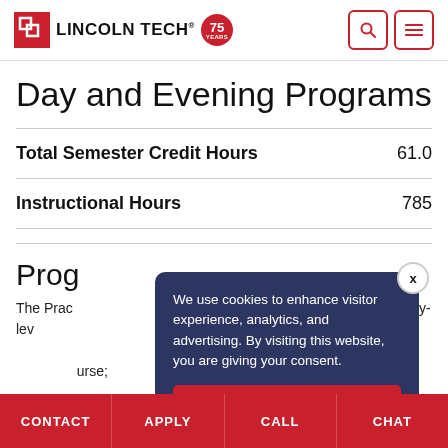[Figure (logo): Lincoln Tech logo with red square icon and 75 years badge, plus search and menu icons]
Day and Evening Programs
| Total Semester Credit Hours | 61.0 |
| Instructional Hours | 785 |
Prog…
The Prac… to become entry-lev… sing to clients o… iety of health ca… urse;
[Figure (other): Cookie consent modal with dark navy background: 'We use cookies to enhance visitor experience, analytics, and advertising. By visiting this website, you are giving your consent.' with OK button and X close button]
CONTACT   APPLY   CALL   CHAT